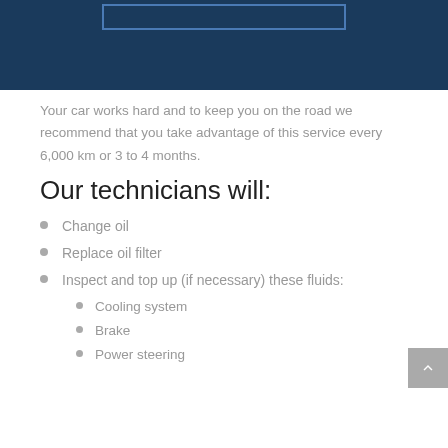[Figure (photo): Dark navy blue background image (car-related), with a rectangular outlined box at the top center]
Your car works hard and to keep you on the road we recommend that you take advantage of this service every 6,000 km or 3 to 4 months.
Our technicians will:
Change oil
Replace oil filter
Inspect and top up (if necessary) these fluids:
Cooling system
Brake
Power steering